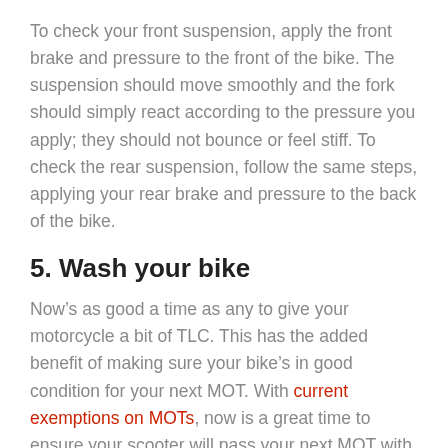To check your front suspension, apply the front brake and pressure to the front of the bike. The suspension should move smoothly and the fork should simply react according to the pressure you apply; they should not bounce or feel stiff. To check the rear suspension, follow the same steps, applying your rear brake and pressure to the back of the bike.
5. Wash your bike
Now’s as good a time as any to give your motorcycle a bit of TLC. This has the added benefit of making sure your bike’s in good condition for your next MOT. With current exemptions on MOTs, now is a great time to ensure your scooter will pass your next MOT with flying colours so you can get back on the road quickly.
Plus, this will help your bike return to its original condition